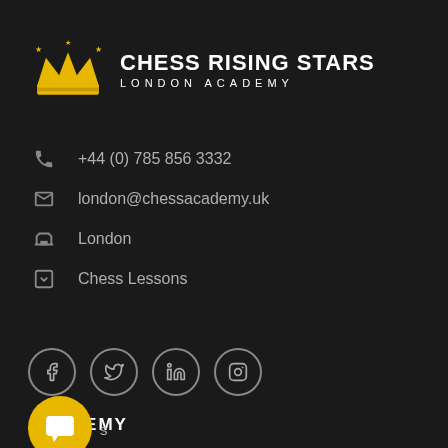[Figure (logo): Chess Rising Stars London Academy logo with golden crown icon and white bold text]
+44 (0) 785 856 3332
london@chessacademy.uk
London
Chess Lessons
[Figure (illustration): Social media icons: Facebook, Twitter, LinkedIn, Instagram in circular outlines]
ACADEMY
[Figure (illustration): Yellow circular chat bubble button partially visible at bottom]
...s